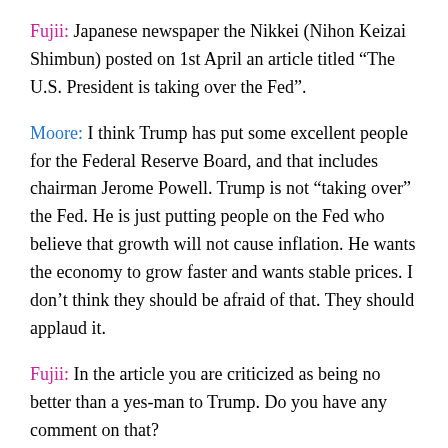Fujii: Japanese newspaper the Nikkei (Nihon Keizai Shimbun) posted on 1st April an article titled “The U.S. President is taking over the Fed”.
Moore: I think Trump has put some excellent people for the Federal Reserve Board, and that includes chairman Jerome Powell. Trump is not “taking over” the Fed. He is just putting people on the Fed who believe that growth will not cause inflation. He wants the economy to grow faster and wants stable prices. I don’t think they should be afraid of that. They should applaud it.
Fujii: In the article you are criticized as being no better than a yes-man to Trump. Do you have any comment on that?
Moore: My ideas are not that controversial. They basically try to continue to grow the economy like Trump has done. I don’t believe that growth which...